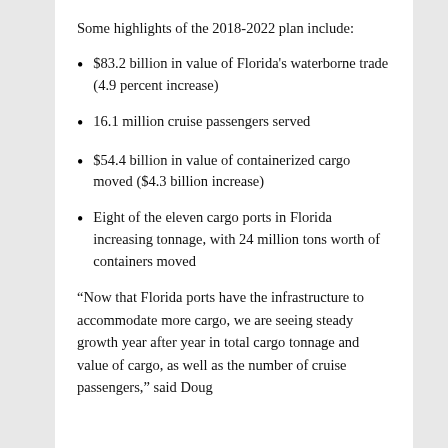Some highlights of the 2018-2022 plan include:
$83.2 billion in value of Florida's waterborne trade (4.9 percent increase)
16.1 million cruise passengers served
$54.4 billion in value of containerized cargo moved ($4.3 billion increase)
Eight of the eleven cargo ports in Florida increasing tonnage, with 24 million tons worth of containers moved
“Now that Florida ports have the infrastructure to accommodate more cargo, we are seeing steady growth year after year in total cargo tonnage and value of cargo, as well as the number of cruise passengers,” said Doug